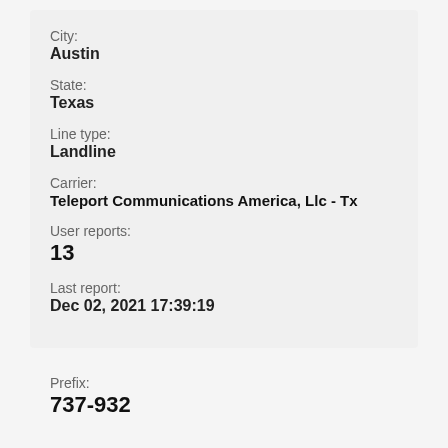City:
Austin
State:
Texas
Line type:
Landline
Carrier:
Teleport Communications America, Llc - Tx
User reports:
13
Last report:
Dec 02, 2021 17:39:19
Prefix:
737-932